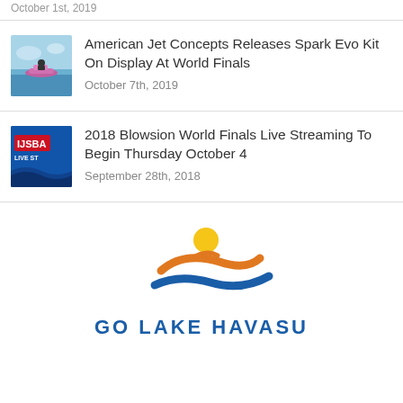October 1st, 2019
[Figure (photo): Jet ski on water, pink/purple watercraft]
American Jet Concepts Releases Spark Evo Kit On Display At World Finals
October 7th, 2019
[Figure (photo): IJSBA Live Stream logo on blue background]
2018 Blowsion World Finals Live Streaming To Begin Thursday October 4
September 28th, 2018
[Figure (logo): Go Lake Havasu logo with swimmer figure and sun, blue and orange colors]
GO LAKE HAVASU